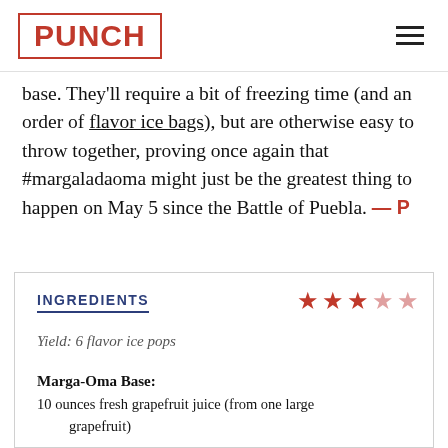PUNCH
base. They'll require a bit of freezing time (and an order of flavor ice bags), but are otherwise easy to throw together, proving once again that #margaladaoma might just be the greatest thing to happen on May 5 since the Battle of Puebla. — P
INGREDIENTS
Yield: 6 flavor ice pops
Marga-Oma Base:
10 ounces fresh grapefruit juice (from one large grapefruit)
1 1/2 ounces tequila
2 ounces lime simple syrup (see Editor's Note)